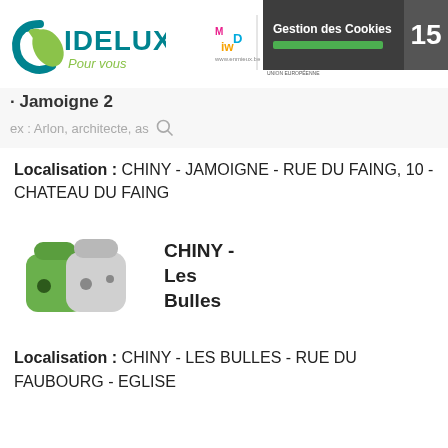[Figure (logo): IDELUX Pour vous logo - teal and green circular shape with IDELUX text and 'Pour vous' subtitle]
[Figure (logo): Partner logos: enmieux.be (colourful M logo), EU flag, Wallonie logo with small text about European development fund]
[Figure (screenshot): Gestion des Cookies dark overlay bar with green progress bar and number 15]
Jamoigne 2
ex : Arlon, architecte, as
Localisation : CHINY - JAMOIGNE - RUE DU FAING, 10 - CHATEAU DU FAING
[Figure (illustration): Two recycling/waste bin icons: green rounded bin and grey/silver rounded bin with small dark eyes/holes]
CHINY - Les Bulles
Localisation : CHINY - LES BULLES - RUE DU FAUBOURG - EGLISE